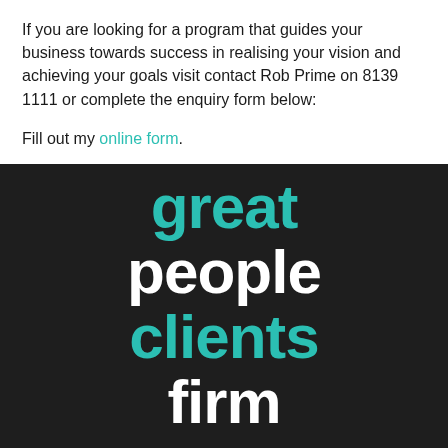If you are looking for a program that guides your business towards success in realising your vision and achieving your goals visit contact Rob Prime on 8139 1111 or complete the enquiry form below:
Fill out my online form.
[Figure (infographic): Dark background section with large stacked words: 'great' (teal), 'people' (white), 'clients' (teal), 'firm' (white), followed by tagline text]
Nexia Edwards Marshall combines great people with great clients, aspiring to be a great firm.